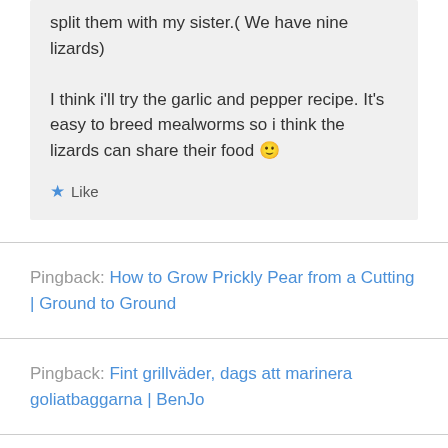split them with my sister.( We have nine lizards)
I think i'll try the garlic and pepper recipe. It's easy to breed mealworms so i think the lizards can share their food 🙂
★ Like
Pingback: How to Grow Prickly Pear from a Cutting | Ground to Ground
Pingback: Fint grillväder, dags att marinera goliatbaggarna | BenJo
Danni on May 4, 2013 at 6:03 am